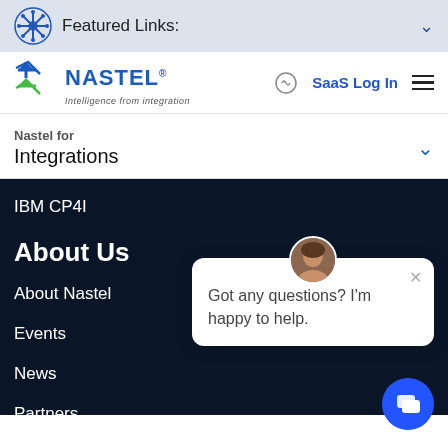Featured Links:
[Figure (logo): Nastel logo with tagline 'Intelligence from Integration']
SaaS Log In
Nastel for
Integrations
IBM CP4I
About Us
About Nastel
Events
News
Partners
Got any questions? I'm happy to help.